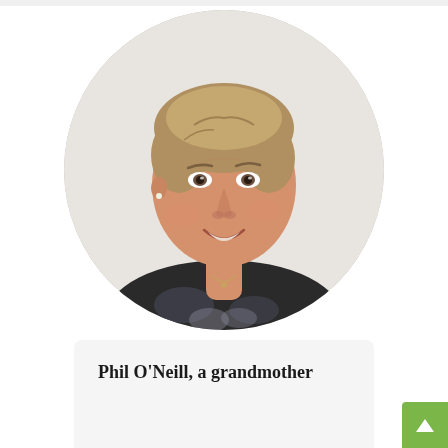[Figure (photo): Circular portrait photo of a woman with short blonde/grey hair, smiling, wearing a dark floral patterned top and a necklace, photographed against a light background.]
Phil O'Neill, a grandmother